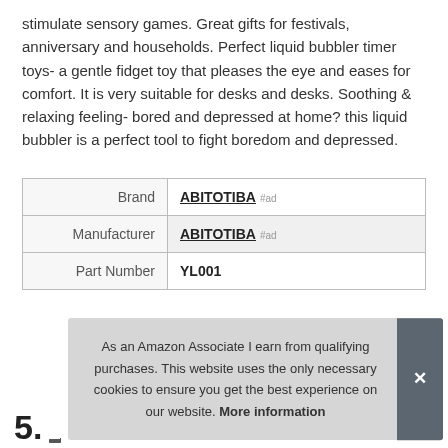stimulate sensory games. Great gifts for festivals, anniversary and households. Perfect liquid bubbler timer toys- a gentle fidget toy that pleases the eye and eases for comfort. It is very suitable for desks and desks. Soothing & relaxing feeling- bored and depressed at home? this liquid bubbler is a perfect tool to fight boredom and depressed.
|  |  |
| --- | --- |
| Brand | ABITOTIBA #ad |
| Manufacturer | ABITOTIBA #ad |
| Part Number | YL001 |
More information #ad
As an Amazon Associate I earn from qualifying purchases. This website uses the only necessary cookies to ensure you get the best experience on our website. More information
5.